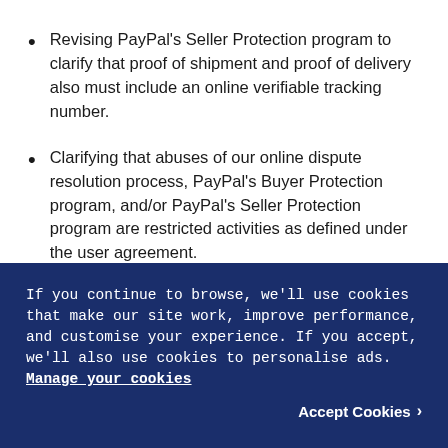Revising PayPal’s Seller Protection program to clarify that proof of shipment and proof of delivery also must include an online verifiable tracking number.
Clarifying that abuses of our online dispute resolution process, PayPal’s Buyer Protection program, and/or PayPal’s Seller Protection program are restricted activities as defined under the user agreement.
If you continue to browse, we’ll use cookies that make our site work, improve performance, and customise your experience. If you accept, we’ll also use cookies to personalise ads. Manage your cookies
Accept Cookies >